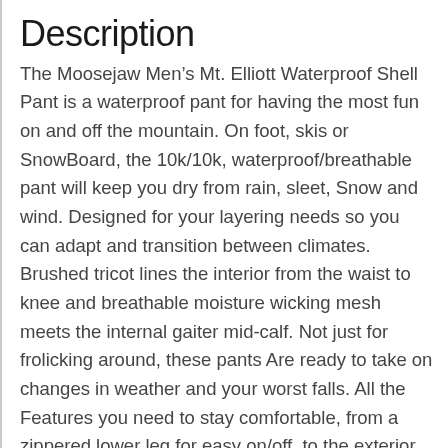Description
The Moosejaw Men’s Mt. Elliott Waterproof Shell Pant is a waterproof pant for having the most fun on and off the mountain. On foot, skis or SnowBoard, the 10k/10k, waterproof/breathable pant will keep you dry from rain, sleet, Snow and wind. Designed for your layering needs so you can adapt and transition between climates. Brushed tricot lines the interior from the waist to knee and breathable moisture wicking mesh meets the internal gaiter mid-calf. Not just for frolicking around, these pants Are ready to take on changes in weather and your worst falls. All the Features you need to stay comfortable, from a zippered lower leg for easy on/off, to the exterior adjustable waist with belt loops. Plenty of pockets with waterproof zippers